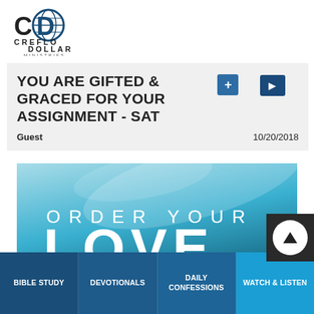[Figure (logo): Creflo Dollar Ministries logo with stylized CD globe icon]
YOU ARE GIFTED & GRACED FOR YOUR ASSIGNMENT - SAT
Guest    10/20/2018
[Figure (illustration): Blue gradient promotional image showing ORDER YOUR LOVE text]
BIBLE STUDY
DEVOTIONALS
DAILY CONFESSIONS
WATCH & LISTEN